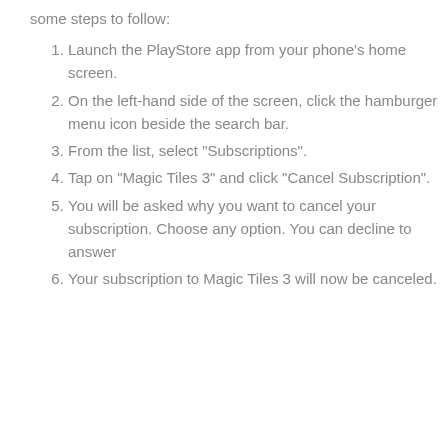some steps to follow:
Launch the PlayStore app from your phone's home screen.
On the left-hand side of the screen, click the hamburger menu icon beside the search bar.
From the list, select "Subscriptions".
Tap on "Magic Tiles 3" and click "Cancel Subscription".
You will be asked why you want to cancel your subscription. Choose any option. You can decline to answer
Your subscription to Magic Tiles 3 will now be canceled.